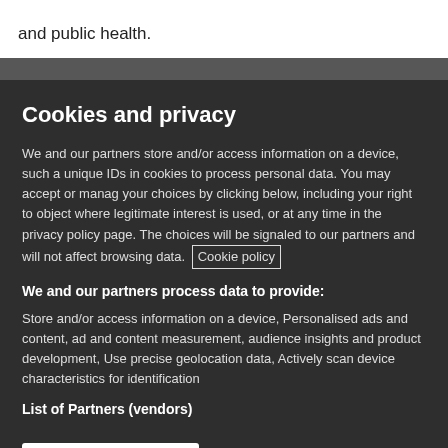and public health.
Cookies and privacy
We and our partners store and/or access information on a device, such as unique IDs in cookies to process personal data. You may accept or manage your choices by clicking below, including your right to object where legitimate interest is used, or at any time in the privacy policy page. These choices will be signaled to our partners and will not affect browsing data. Cookie policy
We and our partners process data to provide:
Store and/or access information on a device, Personalised ads and content, ad and content measurement, audience insights and product development, Use precise geolocation data, Actively scan device characteristics for identification
List of Partners (vendors)
I Accept